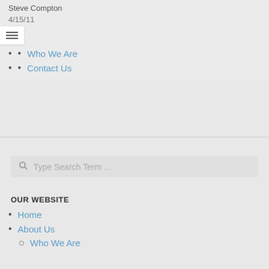Steve Compton
4/15/11
Who We Are
Contact Us
Type Search Term ...
OUR WEBSITE
Home
About Us
Who We Are